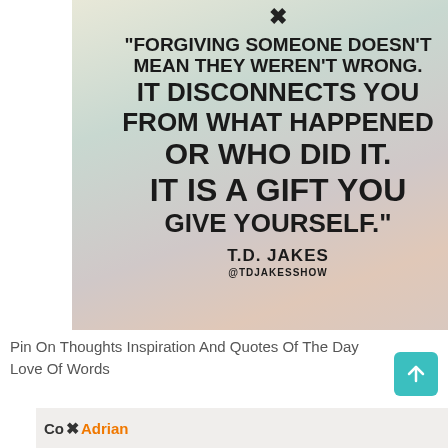[Figure (illustration): Inspirational quote image with soft pastel gradient background. Bold uppercase text reads: "FORGIVING SOMEONE DOESN'T MEAN THEY WEREN'T WRONG. IT DISCONNECTS YOU FROM WHAT HAPPENED OR WHO DID IT. IT IS A GIFT YOU GIVE YOURSELF." attributed to T.D. JAKES @TDJAKESSHOW. A close button (X) appears at the top center.]
Pin On Thoughts Inspiration And Quotes Of The Day Love Of Words
[Figure (screenshot): Bottom strip showing partial advertisement with 'Co' text, close button, and 'Adrian' in orange text.]